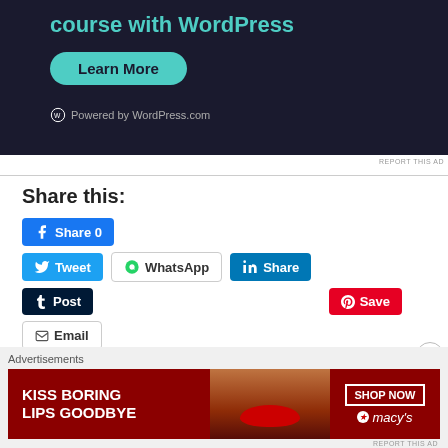[Figure (screenshot): WordPress.com advertisement banner with dark background showing 'course with WordPress' text in teal, a 'Learn More' button, and 'Powered by WordPress.com' footer]
REPORT THIS AD
Share this:
[Figure (screenshot): Social share buttons row 1: Facebook Share 0]
[Figure (screenshot): Social share buttons row 2: Tweet, WhatsApp, LinkedIn Share]
[Figure (screenshot): Social share buttons row 3: Tumblr Post, Pinterest Save]
[Figure (screenshot): Social share buttons row 4: Email]
Advertisements
[Figure (screenshot): Macy's advertisement banner: 'KISS BORING LIPS GOODBYE' with SHOP NOW button and Macy's star logo]